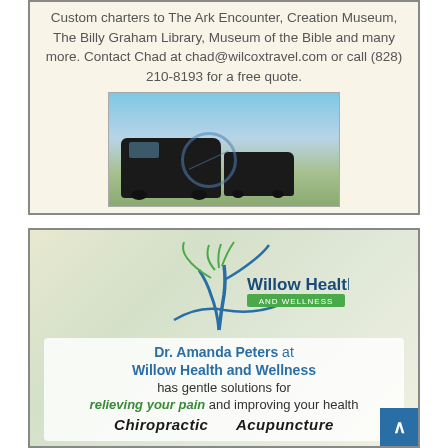Custom charters to The Ark Encounter, Creation Museum, The Billy Graham Library, Museum of the Bible and many more. Contact Chad at chad@wilcoxtravel.com or call (828) 210-8193 for a free quote.
[Figure (photo): Two black charter buses parked in front of a mountain landscape under a blue sky]
[Figure (logo): Willow Health and Wellness logo with a stylized willow tree in green and blue]
Dr. Amanda Peters at Willow Health and Wellness has gentle solutions for relieving your pain and improving your health
Chiropractic    Acupuncture